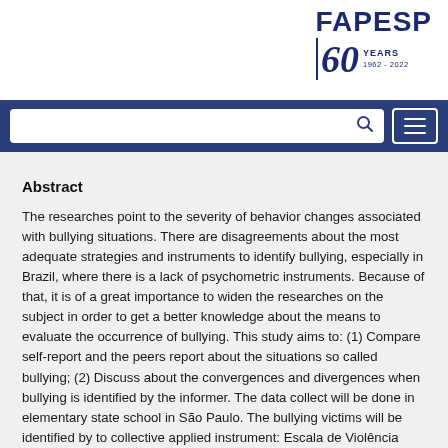[Figure (logo): FAPESP 60 Years logo (1962-2022) with stylized '60' numeral and vertical bar accent]
Abstract
The researches point to the severity of behavior changes associated with bullying situations. There are disagreements about the most adequate strategies and instruments to identify bullying, especially in Brazil, where there is a lack of psychometric instruments. Because of that, it is of a great importance to widen the researches on the subject in order to get a better knowledge about the means to evaluate the occurrence of bullying. This study aims to: (1) Compare self-report and the peers report about the situations so called bullying; (2) Discuss about the convergences and divergences when bullying is identified by the informer. The data collect will be done in elementary state school in São Paulo. The bullying victims will be identified by to collective applied instrument: Escala de Violência Escolar (School Violence Scale) - Student Version and translation of Peer Assessment. One standard